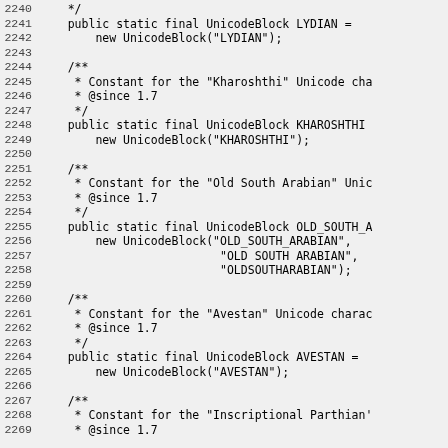Code listing showing Java UnicodeBlock constants: LYDIAN, KHAROSHTHI, OLD_SOUTH_ARABIAN, AVESTAN, and beginning of Inscriptional Parthian, with Javadoc comments. Lines 2240-2269.